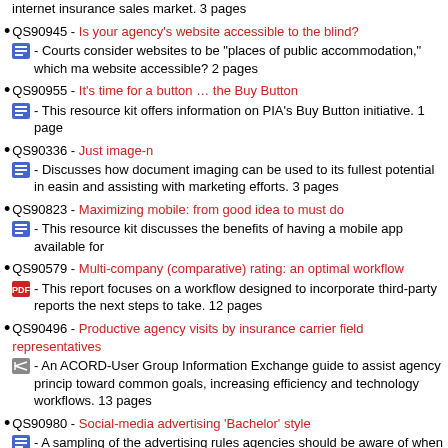internet insurance sales market. 3 pages
QS90945 - Is your agency’s website accessible to the blind? - Courts consider websites to be “places of public accommodation,” which make website accessible? 2 pages
QS90955 - It’s time for a button … the Buy Button - This resource kit offers information on PIA’s Buy Button initiative. 1 page
QS90336 - Just image-n - Discusses how document imaging can be used to its fullest potential in easing and assisting with marketing efforts. 3 pages
QS90823 - Maximizing mobile: from good idea to must do - This resource kit discusses the benefits of having a mobile app available for
QS90579 - Multi-company (comparative) rating: an optimal workflow - This report focuses on a workflow designed to incorporate third-party reports the next steps to take. 12 pages
QS90496 - Productive agency visits by insurance carrier field representatives - An ACORD-User Group Information Exchange guide to assist agency principals toward common goals, increasing efficiency and technology workflows. 13 pages
QS90980 - Social-media advertising ‘Bachelor’ style - A sampling of the advertising rules agencies should be aware of when creating
QS90798 - Technology use in your agency - Addresses the use of agency technology by customer service representatives
QS90560 - Technology-related terms - A comprehensive list of technology-related terms and their applicable definitions
QS90607 - The changing insurance consumer—technologies to help you compete - Discusses the many new technologies available to agents